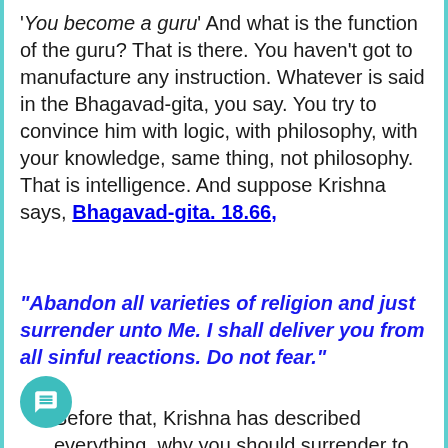'You become a guru' And what is the function of the guru? That is there. You haven't got to manufacture any instruction. Whatever is said in the Bhagavad-gita, you say. You try to convince him with logic, with philosophy, with your knowledge, same thing, not philosophy. That is intelligence. And suppose Krishna says, Bhagavad-gita. 18.66,
“Abandon all varieties of religion and just surrender unto Me. I shall deliver you from all sinful reactions. Do not fear.”
Before that, Krishna has described everything, why you should surrender to